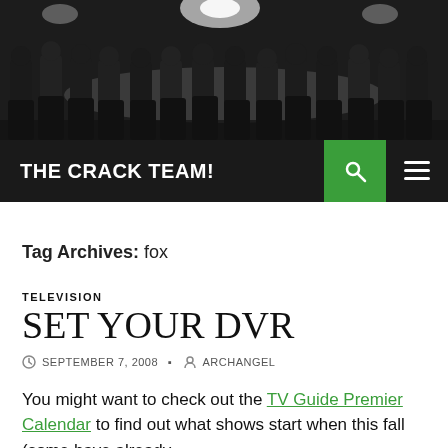[Figure (photo): Black and white photograph of men seated around a large conference table, viewed from behind, with bright lights above]
THE CRACK TEAM!
Tag Archives: fox
TELEVISION
SET YOUR DVR
SEPTEMBER 7, 2008   ARCHANGEL
You might want to check out the TV Guide Premier Calendar to find out what shows start when this fall (some have already